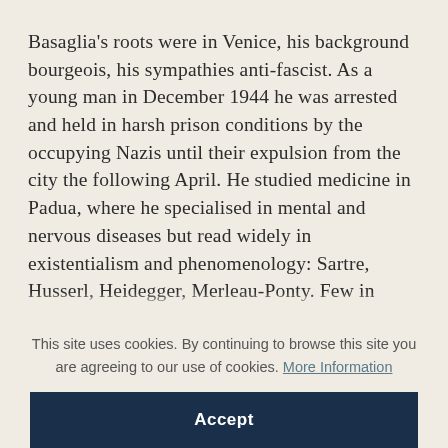Basaglia's roots were in Venice, his background bourgeois, his sympathies anti-fascist. As a young man in December 1944 he was arrested and held in harsh prison conditions by the occupying Nazis until their expulsion from the city the following April. He studied medicine in Padua, where he specialised in mental and nervous diseases but read widely in existentialism and phenomenology: Sartre, Husserl, Heidegger, Merleau-Ponty. Few in those days entered psychiatry as a vocation but
This site uses cookies. By continuing to browse this site you are agreeing to our use of cookies. More Information
Accept